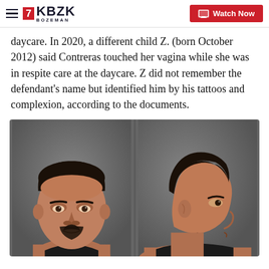KBZK BOZEMAN | Watch Now
daycare. In 2020, a different child Z. (born October 2012) said Contreras touched her vagina while she was in respite care at the daycare. Z did not remember the defendant's name but identified him by his tattoos and complexion, according to the documents.
[Figure (photo): Mugshot showing two views (front-facing and side profile) of a Hispanic male with dark hair and a beard, against a gray background.]